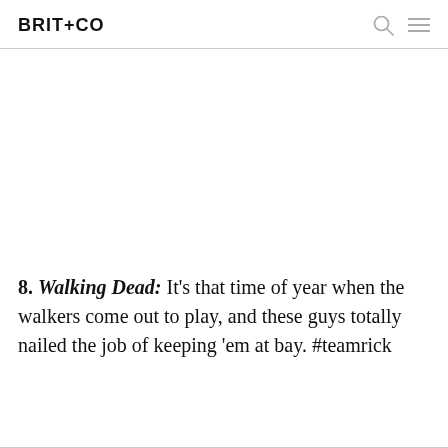BRIT+CO
[Figure (photo): Large image placeholder area (white/blank) occupying most of the upper portion of the page below the header]
8. Walking Dead. It's that time of year when the walkers come out to play, and these guys totally nailed the job of keeping 'em at bay. #teamrick